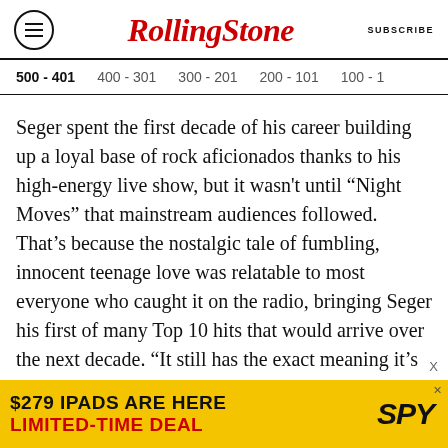Rolling Stone | SUBSCRIBE
500 - 401   400 - 301   300 - 201   200 - 101   100 - 1
Seger spent the first decade of his career building up a loyal base of rock aficionados thanks to his high-energy live show, but it wasn't until “Night Moves” that mainstream audiences followed. That’s because the nostalgic tale of fumbling, innocent teenage love was relatable to most everyone who caught it on the radio, bringing Seger his first of many Top 10 hits that would arrive over the next decade. “It still has the exact meaning it’s always had for me,” Seger said in
[Figure (screenshot): Advertisement banner: '$279 IPADS ARE HERE LIMITED-TIME DEAL' with SPY logo on yellow background]